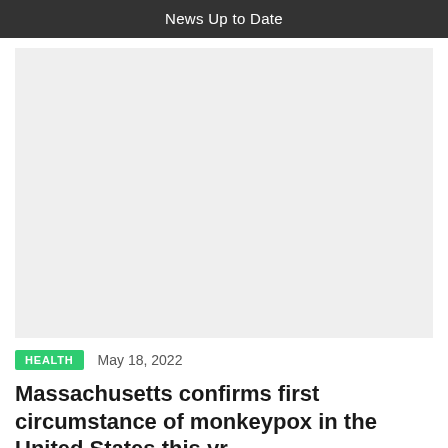News Up to Date
[Figure (photo): Large placeholder image area with light gray background]
HEALTH   May 18, 2022
Massachusetts confirms first circumstance of monkeypox in the United States this yr